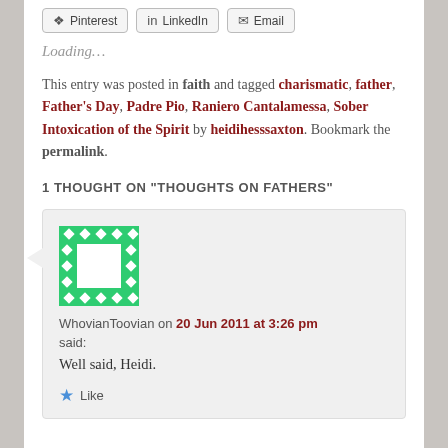[Figure (screenshot): Share buttons row with Pinterest, LinkedIn, and Email buttons]
Loading...
This entry was posted in faith and tagged charismatic, father, Father's Day, Padre Pio, Raniero Cantalamessa, Sober Intoxication of the Spirit by heidihesssaxton. Bookmark the permalink.
1 THOUGHT ON "THOUGHTS ON FATHERS"
[Figure (illustration): Green pixelated avatar/identicon for WhovianToovian commenter]
WhovianToovian on 20 Jun 2011 at 3:26 pm said: Well said, Heidi.
Like